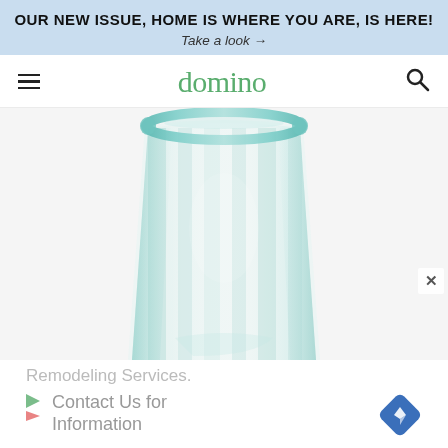OUR NEW ISSUE, HOME IS WHERE YOU ARE, IS HERE! Take a look →
domino
[Figure (photo): Close-up photo of a clear glass tumbler with a teal/aqua rim, shot from above on a white background. The glass has vertical ridged panels and appears to be made of recycled glass with a slight blue-green tint.]
Remodeling Services.
Contact Us for Information